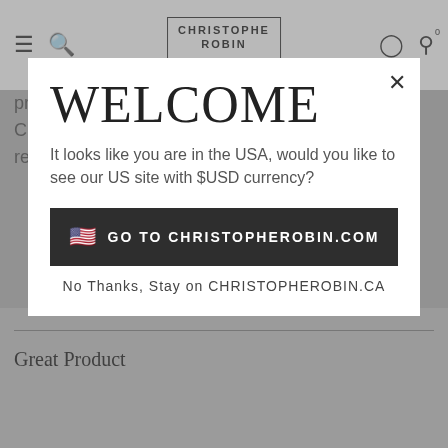CHRISTOPHE ROBIN PARIS
products, results may vary from person to person. Customer reviews are independent and do not represent the views of The Hut Group.
WELCOME
It looks like you are in the USA, would you like to see our US site with $USD currency?
🇺🇸  GO TO CHRISTOPHEROBIN.COM
No Thanks, Stay on CHRISTOPHEROBIN.CA
Great Product